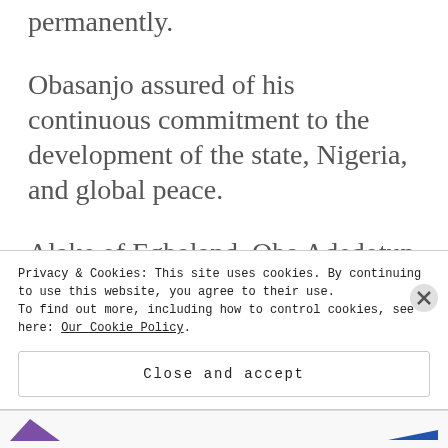permanently.
Obasanjo assured of his continuous commitment to the development of the state, Nigeria, and global peace.
Alake of Egbaland, Oba Adedotun Gbadebo described Obasanjo and Abiola as proud sons of Abeokuta.
The traditional ruler added that “bad
Privacy & Cookies: This site uses cookies. By continuing to use this website, you agree to their use.
To find out more, including how to control cookies, see here: Our Cookie Policy
Close and accept